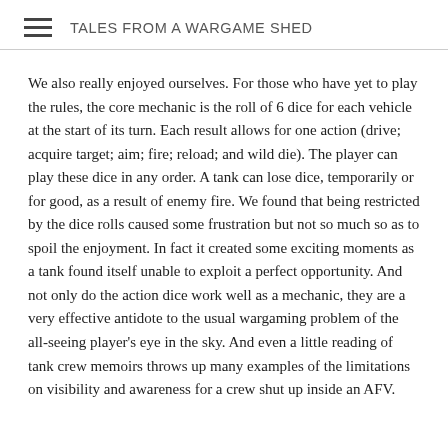TALES FROM A WARGAME SHED
We also really enjoyed ourselves. For those who have yet to play the rules, the core mechanic is the roll of 6 dice for each vehicle at the start of its turn. Each result allows for one action (drive; acquire target; aim; fire; reload; and wild die). The player can play these dice in any order. A tank can lose dice, temporarily or for good, as a result of enemy fire. We found that being restricted by the dice rolls caused some frustration but not so much so as to spoil the enjoyment. In fact it created some exciting moments as a tank found itself unable to exploit a perfect opportunity. And not only do the action dice work well as a mechanic, they are a very effective antidote to the usual wargaming problem of the all-seeing player's eye in the sky. And even a little reading of tank crew memoirs throws up many examples of the limitations on visibility and awareness for a crew shut up inside an AFV.